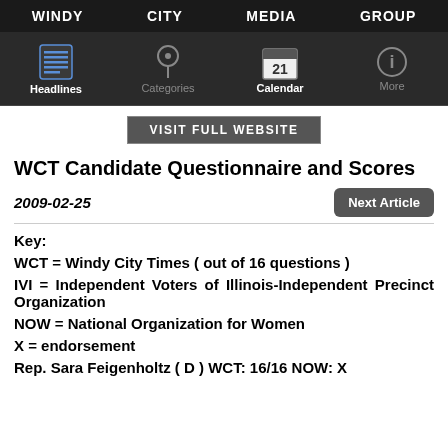WINDY CITY MEDIA GROUP
[Figure (screenshot): Mobile app navigation bar with Headlines, Categories, Calendar, and More tabs]
[Figure (other): VISIT FULL WEBSITE button]
WCT Candidate Questionnaire and Scores
2009-02-25
Key:
WCT = Windy City Times ( out of 16 questions )
IVI = Independent Voters of Illinois-Independent Precinct Organization
NOW = National Organization for Women
X = endorsement
Rep. Sara Feigenholtz ( D ) WCT: 16/16 NOW: X